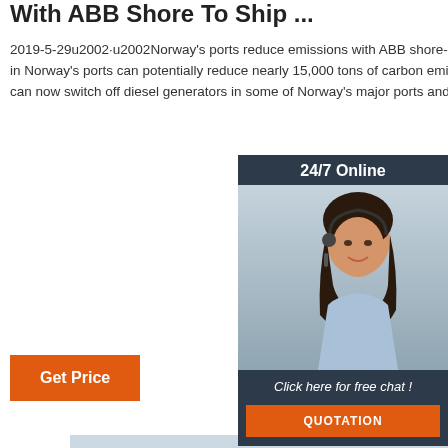With ABB Shore To Ship ...
2019-5-29u2002·u2002Norway's ports reduce emissions with ABB shore-to-ship power technology. New shore-to-ship power in Norway's ports can potentially reduce nearly 15,000 tons of carbon emissions each year. Offshore support vessels (OSVs) can now switch off diesel generators in some of Norway's major ports and plug-in to shoreside power. NorSea Group ...
[Figure (infographic): 24/7 Online chat widget with woman wearing headset, 'Click here for free chat!' text, and QUOTATION button]
Get Price
[Figure (photo): Photo of workers on industrial equipment/boat at sea with hazy sky background]